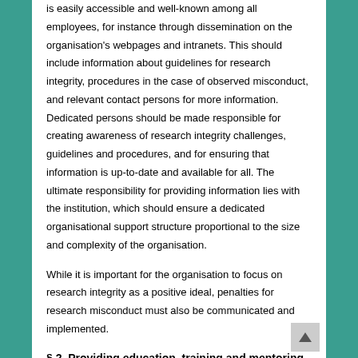is easily accessible and well-known among all employees, for instance through dissemination on the organisation's webpages and intranets. This should include information about guidelines for research integrity, procedures in the case of observed misconduct, and relevant contact persons for more information. Dedicated persons should be made responsible for creating awareness of research integrity challenges, guidelines and procedures, and for ensuring that information is up-to-date and available for all. The ultimate responsibility for providing information lies with the institution, which should ensure a dedicated organisational support structure proportional to the size and complexity of the organisation.
While it is important for the organisation to focus on research integrity as a positive ideal, penalties for research misconduct must also be communicated and implemented.
§ 2. Providing education, training and mentoring
Institutions are responsible for offering training and education to